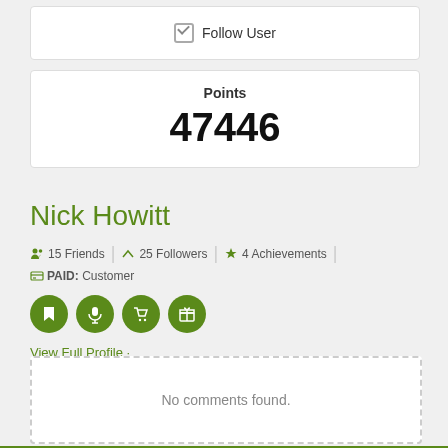Follow User
Points
47446
Nick Howitt
15 Friends | 25 Followers | 4 Achievements | PAID: Customer
View Full Profile ·
No comments found.